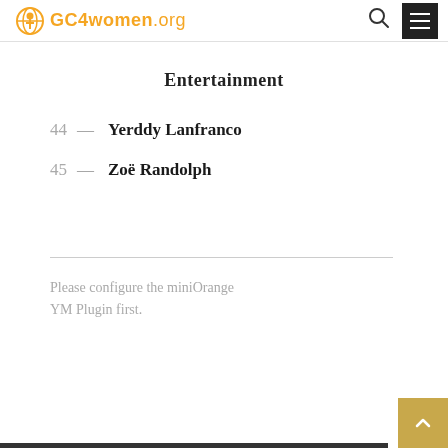GC4women.org
Entertainment
44 — Yerddy Lanfranco
45 — Zoë Randolph
Please configure the miniOrange YM Plugin first.